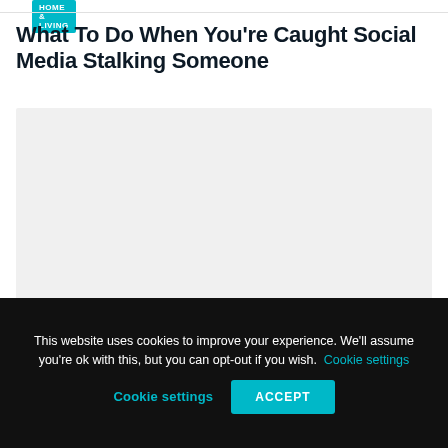HOME & LIVING
What To Do When You’re Caught Social Media Stalking Someone
[Figure (photo): Light grey image placeholder rectangle representing an article photo]
This website uses cookies to improve your experience. We'll assume you're ok with this, but you can opt-out if you wish. Cookie settings ACCEPT